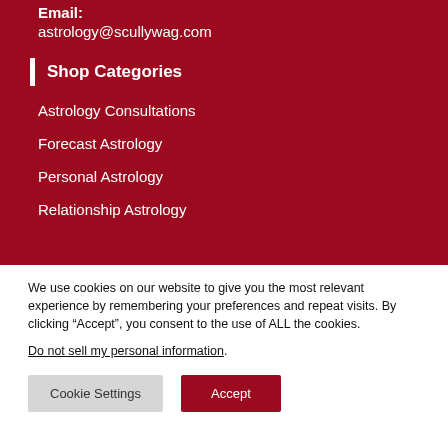Email:
astrology@scullywag.com
Shop Categories
Astrology Consultations
Forecast Astrology
Personal Astrology
Relationship Astrology
We use cookies on our website to give you the most relevant experience by remembering your preferences and repeat visits. By clicking “Accept”, you consent to the use of ALL the cookies.
Do not sell my personal information.